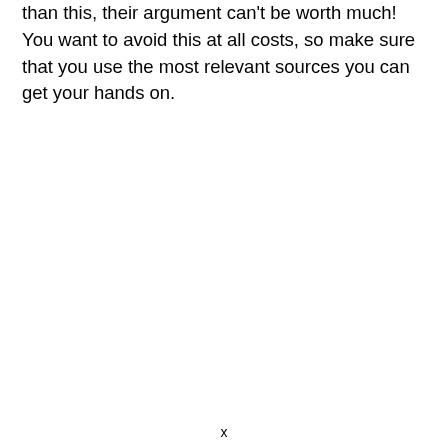than this, their argument can't be worth much! You want to avoid this at all costs, so make sure that you use the most relevant sources you can get your hands on.
x